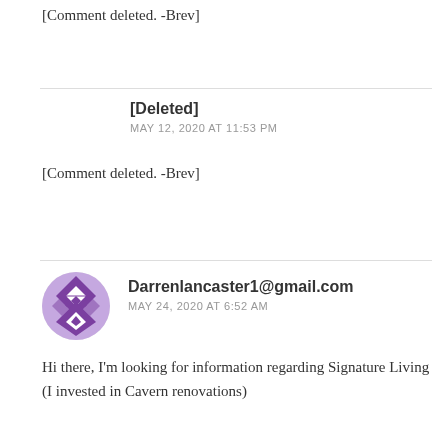[Comment deleted. -Brev]
[Deleted]
MAY 12, 2020 AT 11:53 PM
[Comment deleted. -Brev]
Darrenlancaster1@gmail.com
MAY 24, 2020 AT 6:52 AM
Hi there, I'm looking for information regarding Signature Living (I invested in Cavern renovations)